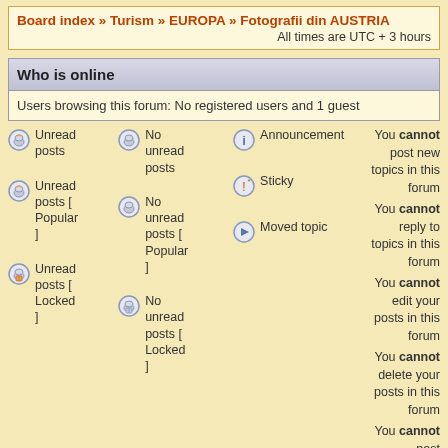Board index » Turism » EUROPA » Fotografii din AUSTRIA
All times are UTC + 3 hours
Who is online
Users browsing this forum: No registered users and 1 guest
Unread posts
No unread posts
Announcement
You cannot post new topics in this forum
You cannot reply to topics in this forum
You cannot edit your posts in this forum
You cannot delete your posts in this forum
You cannot post attachments in this forum
Unread posts [ Popular ]
No unread posts [ Popular ]
Sticky
Unread posts [ Locked ]
No unread posts [ Locked ]
Moved topic